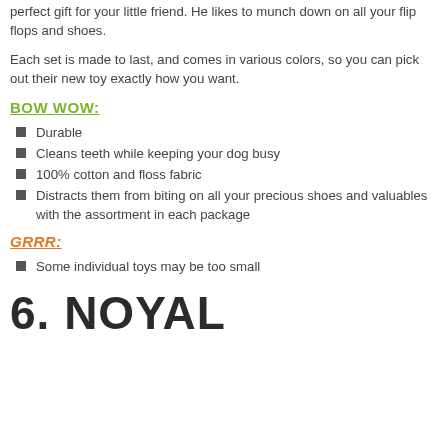perfect gift for your little friend. He likes to munch down on all your flip flops and shoes.
Each set is made to last, and comes in various colors, so you can pick out their new toy exactly how you want.
BOW WOW:
Durable
Cleans teeth while keeping your dog busy
100% cotton and floss fabric
Distracts them from biting on all your precious shoes and valuables with the assortment in each package
GRRR:
Some individual toys may be too small
6. NOYAL